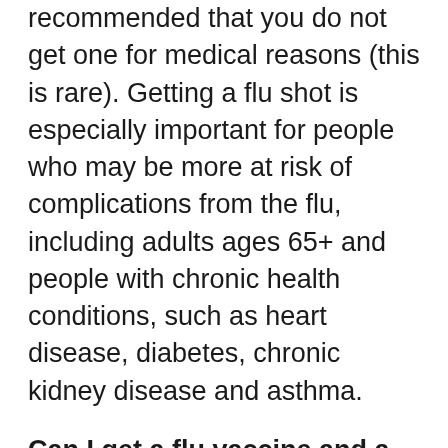recommended that you do not get one for medical reasons (this is rare). Getting a flu shot is especially important for people who may be more at risk of complications from the flu, including adults ages 65+ and people with chronic health conditions, such as heart disease, diabetes, chronic kidney disease and asthma.
Can I get a flu vaccine and a COVID-19 vaccine at the same time?
Yes. You can get both vaccines at the same time. Or you can get a flu vaccine at the same time as a COVID-19 booster shot.